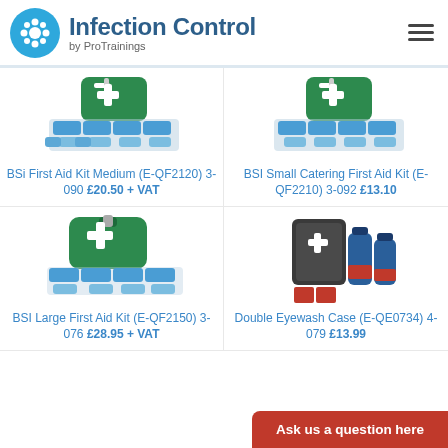Infection Control by ProTrainings
[Figure (photo): BSi First Aid Kit Medium product image - green first aid bag with supplies]
BSi First Aid Kit Medium (E-QF2120) 3-090 £20.50 + VAT
[Figure (photo): BSI Small Catering First Aid Kit product image - green case with supplies]
BSI Small Catering First Aid Kit (E-QF2210) 3-092 £13.10
[Figure (photo): BSI Large First Aid Kit product image - green case with supplies]
BSI Large First Aid Kit (E-QF2150) 3-076 £28.95 + VAT
[Figure (photo): Double Eyewash Case product image - dark case with eyewash bottles]
Double Eyewash Case (E-QE0734) 4-079 £13.99